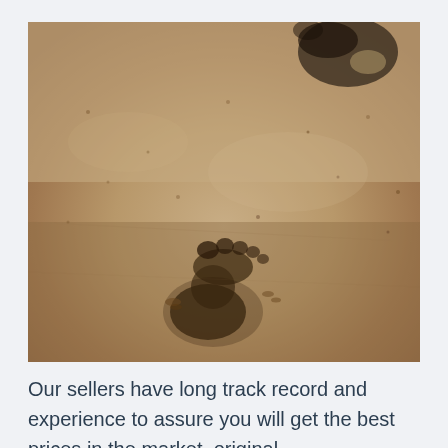[Figure (photo): Close-up photograph of footprints in sand on a beach. In the foreground is a clear, detailed footprint showing toes and heel impression pressed into the sand. In the upper portion of the image, another foot mid-step is partially visible. The sand is light tan/beige colored with small pebbles and debris scattered throughout.]
Our sellers have long track record and experience to assure you will get the best prices in the market, original